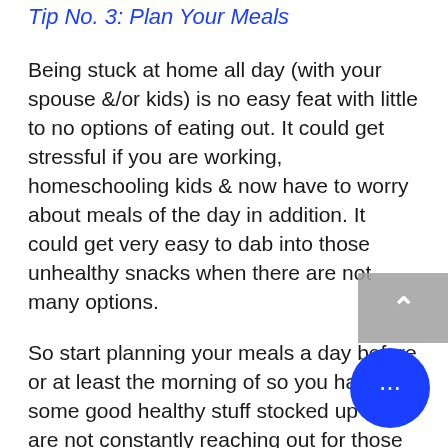Tip No. 3: Plan Your Meals
Being stuck at home all day (with your spouse &/or kids) is no easy feat with little to no options of eating out. It could get stressful if you are working, homeschooling kids & now have to worry about meals of the day in addition. It could get very easy to dab into those unhealthy snacks when there are not many options.
So start planning your meals a day before or at least the morning of so you have some good healthy stuff stocked up & you are not constantly reaching out for those unhealthy snacks. Trust me, it helps with your physical as well as emotional health. In fact, a lot of